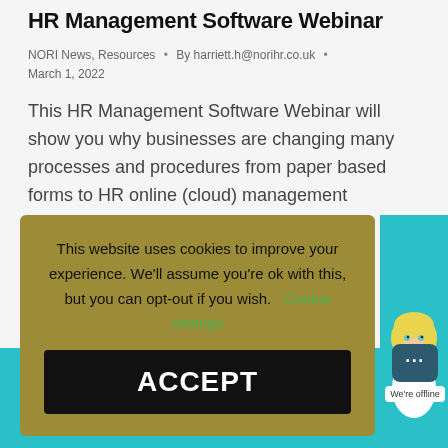HR Management Software Webinar
NORI News, Resources • By harriett.h@norihr.co.uk • March 1, 2022
This HR Management Software Webinar will show you why businesses are changing many processes and procedures from paper based forms to HR online (cloud) management software.
This website uses cookies to improve your experience. We'll assume you're ok with this, but you can opt-out if you wish. Cookie settings
ACCEPT
[Figure (illustration): Teal background panel with yellow/gold text 'IT:' and an illustrated blonde female character, plus a chat widget showing 'We're offline']